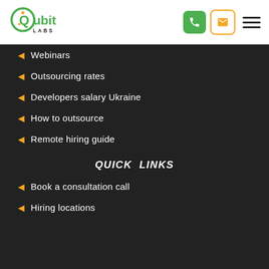[Figure (logo): Qubit Labs logo — green circle with Q, text 'Qubit' in green and 'LABS' in dark below]
Webinars
Outsourcing rates
Developers salary Ukraine
How to outsource
Remote hiring guide
QUICK LINKS
Book a consultation call
Hiring locations